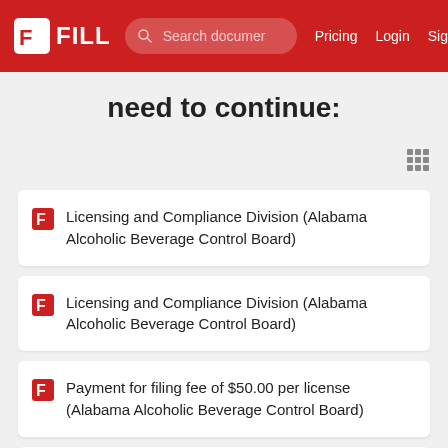FILL | Search documents | Pricing | Login | Sign up
need to continue:
Licensing and Compliance Division (Alabama Alcoholic Beverage Control Board)
Licensing and Compliance Division (Alabama Alcoholic Beverage Control Board)
Payment for filing fee of $50.00 per license (Alabama Alcoholic Beverage Control Board)
This Pre-Application packet must be completed in full (Alabama Alcoholic Beverage Control Board)